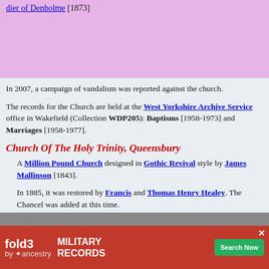[link at top - partial, in pink box]
In 2007, a campaign of vandalism was reported against the church.
The records for the Church are held at the West Yorkshire Archive Service office in Wakefield (Collection WDP205): Baptisms [1958-1973] and Marriages [1958-1977].
Church Of The Holy Trinity, Queensbury
A Million Pound Church designed in Gothic Revival style by James Mallinson [1843].
In 1885, it was restored by Francis and Thomas Henry Healey. The Chancel was added at this time.
The tower was rebuilt in 1906.
The east window commemorates John Foster and his wife, Ruth.
The... of the Chu...
[Figure (screenshot): Advertisement bar: fold3 MILITARY RECORDS by Ancestry, Search Now button, with close X button]